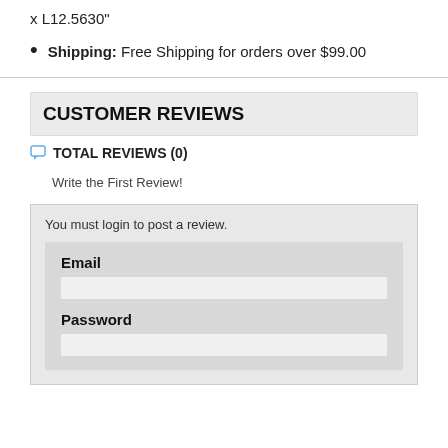x L12.5630"
Shipping: Free Shipping for orders over $99.00
CUSTOMER REVIEWS
TOTAL REVIEWS (0)
Write the First Review!
You must login to post a review.
Email
Password